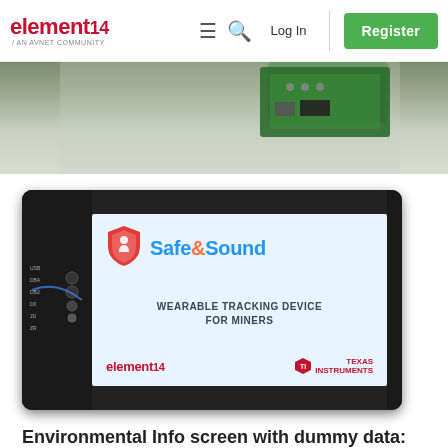element14 / AN AVNET COMMUNITY — Log In | Register
[Figure (photo): Top portion of a green PCB circuit board on white foam background]
[Figure (photo): Electronic device with a display screen showing 'Safe & Sound — Wearable Tracking Device for Miners' with element14 and Texas Instruments logos, surrounded by dark hardware enclosure with circuit board components on the left side]
Environmental Info screen with dummy data: